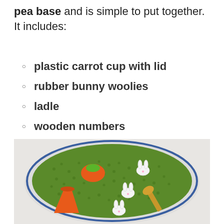pea base and is simple to put together. It includes:
plastic carrot cup with lid
rubber bunny woolies
ladle
wooden numbers
[Figure (photo): Overhead view of a round bowl filled with green dried peas, containing an orange plastic carrot cup, a green-topped orange carrot lid, white rubber bunny figures, and a wooden ladle/spoon, placed on a light grey surface.]